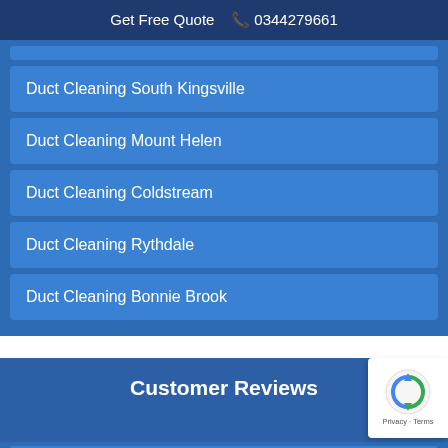Get Free Quote  📞 0344279661
Duct Cleaning South Kingsville
Duct Cleaning Mount Helen
Duct Cleaning Coldstream
Duct Cleaning Rythdale
Duct Cleaning Bonnie Brook
Customer Reviews